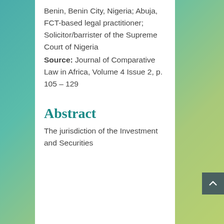Benin, Benin City, Nigeria; Abuja, FCT-based legal practitioner; Solicitor/barrister of the Supreme Court of Nigeria
Source: Journal of Comparative Law in Africa, Volume 4 Issue 2, p. 105 – 129
Abstract
The jurisdiction of the Investment and Securities